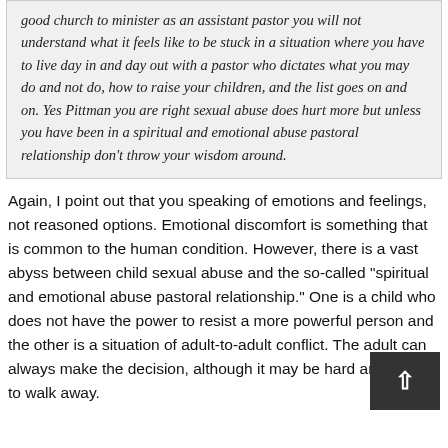good church to minister as an assistant pastor you will not understand what it feels like to be stuck in a situation where you have to live day in and day out with a pastor who dictates what you may do and not do, how to raise your children, and the list goes on and on. Yes Pittman you are right sexual abuse does hurt more but unless you have been in a spiritual and emotional abuse pastoral relationship don't throw your wisdom around.
Again, I point out that you speaking of emotions and feelings, not reasoned options. Emotional discomfort is something that is common to the human condition. However, there is a vast abyss between child sexual abuse and the so-called "spiritual and emotional abuse pastoral relationship." One is a child who does not have the power to resist a more powerful person and the other is a situation of adult-to-adult conflict. The adult can always make the decision, although it may be hard and costly, to walk away.